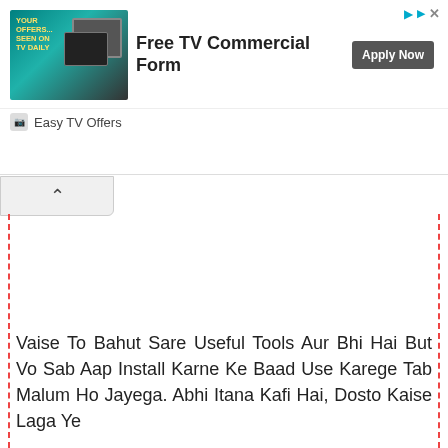[Figure (other): Advertisement banner for 'Free TV Commercial Form' by Easy TV Offers with an Apply Now button and TV screen imagery]
Vaise To Bahut Sare Useful Tools Aur Bhi Hai But Vo Sab Aap Install Karne Ke Baad Use Karege Tab Malum Ho Jayega. Abhi Itana Kafi Hai, Dosto Kaise Laga Ye